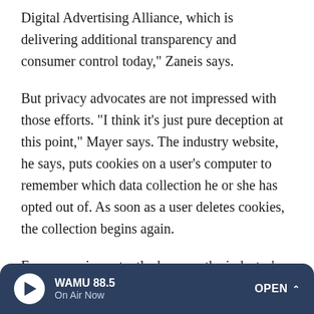Digital Advertising Alliance, which is delivering additional transparency and consumer control today," Zaneis says.
But privacy advocates are not impressed with those efforts. "I think it's just pure deception at this point," Mayer says. The industry website, he says, puts cookies on a user's computer to remember which data collection he or she has opted out of. As soon as a user deletes cookies, the collection begins again.
Even more importantly, he says, the industry's opt-out rules come with some broad exceptions, "like 'product improvement,' so if they're collecting data for purposes of making their product better, then it's actually OK," Mayer says.
WAMU 88.5 On Air Now OPEN